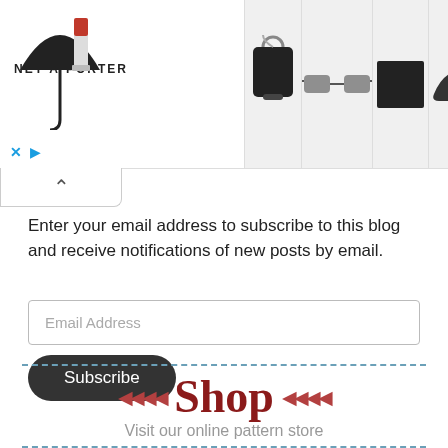[Figure (screenshot): NET-A-PORTER advertisement banner with umbrella/lipstick and product images (bag, sunglasses, wallet, sneaker)]
[Figure (other): Collapse/toggle tab with upward chevron arrow]
Enter your email address to subscribe to this blog and receive notifications of new posts by email.
[Figure (other): Email Address input field]
[Figure (other): Subscribe button (dark rounded pill button)]
[Figure (infographic): Shop section with dashed border lines, arrows, large red 'Shop' text, and subtitle 'Visit our online pattern store']